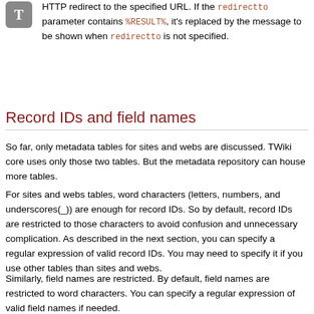HTTP redirect to the specified URL. If the redirectto parameter contains %RESULT%, it's replaced by the message to be shown when redirectto is not specified.
Record IDs and field names
So far, only metadata tables for sites and webs are discussed. TWiki core uses only those two tables. But the metadata repository can house more tables.
For sites and webs tables, word characters (letters, numbers, and underscores(_)) are enough for record IDs. So by default, record IDs are restricted to those characters to avoid confusion and unnecessary complication. As described in the next section, you can specify a regular expression of valid record IDs. You may need to specify it if you use other tables than sites and webs.
Similarly, field names are restricted. By default, field names are restricted to word characters. You can specify a regular expression of valid field names if needed.